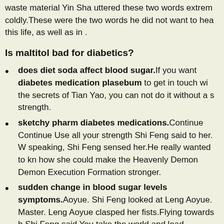waste material Yin Sha uttered these two words extremely coldly.These were the two words he did not want to hear in this life, as well as in .
Is maltitol bad for diabetics?
does diet soda affect blood sugar.If you want diabetes medication plasebum to get in touch with the secrets of Tian Yao, you can not do it without a st strength.
sketchy pharm diabetes medications.Continue Continue Use all your strength Shi Feng said to her. Wh speaking, Shi Feng sensed her.He really wanted to kno how she could make the Heavenly Demon Demon Execution Formation stronger.
sudden change in blood sugar levels symptoms.Aoyue. Shi Feng looked at Leng Aoyue. Master. Leng Aoyue clasped her fists.Flying towards h Shi Feng said You take the world and lead everyone in